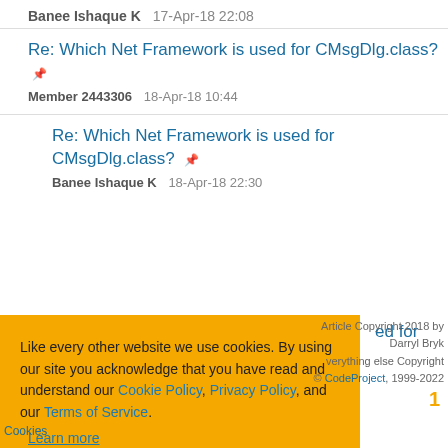Banee Ishaque K    17-Apr-18 22:08
Re: Which Net Framework is used for CMsgDlg.class?
Member 2443306    18-Apr-18 10:44
Re: Which Net Framework is used for CMsgDlg.class?
Banee Ishaque K    18-Apr-18 22:30
Like every other website we use cookies. By using our site you acknowledge that you have read and understand our Cookie Policy, Privacy Policy, and our Terms of Service.
Learn more
Ask me later    Decline    Allow cookies
1
Article Copyright 2018 by Darryl Bryk
everything else Copyright © CodeProject, 1999-2022
Cookies